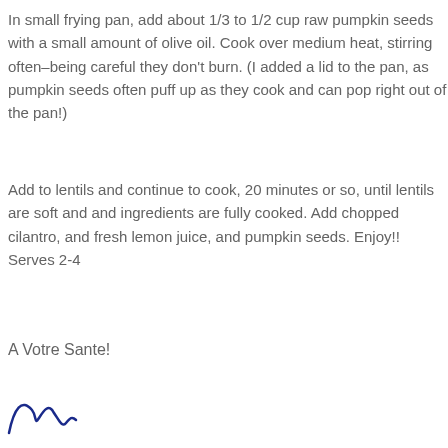In small frying pan, add about 1/3 to 1/2 cup raw pumpkin seeds with a small amount of olive oil. Cook over medium heat, stirring often–being careful they don't burn. (I added a lid to the pan, as pumpkin seeds often puff up as they cook and can pop right out of the pan!)
Add to lentils and continue to cook, 20 minutes or so, until lentils are soft and and ingredients are fully cooked. Add chopped cilantro, and fresh lemon juice, and pumpkin seeds. Enjoy!! Serves 2-4
A Votre Sante!
[Figure (illustration): A handwritten cursive signature in blue ink, partially visible at the bottom of the page.]